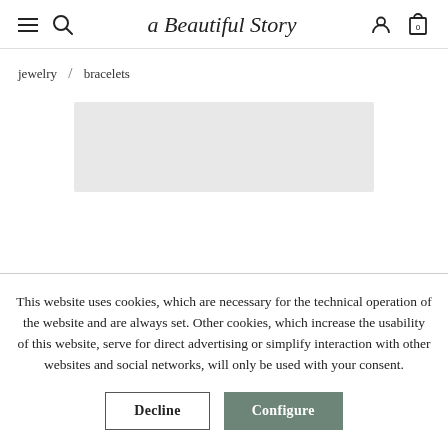a Beautiful Story — navigation header with hamburger, search, logo, user, and cart icons
jewelry / bracelets
[Figure (photo): Product image placeholder — light grey rectangle representing a bracelet product photo]
This website uses cookies, which are necessary for the technical operation of the website and are always set. Other cookies, which increase the usability of this website, serve for direct advertising or simplify interaction with other websites and social networks, will only be used with your consent.
Decline | Configure